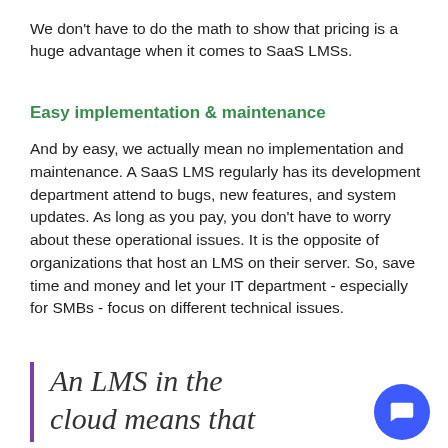We don't have to do the math to show that pricing is a huge advantage when it comes to SaaS LMSs.
Easy implementation & maintenance
And by easy, we actually mean no implementation and maintenance. A SaaS LMS regularly has its development department attend to bugs, new features, and system updates. As long as you pay, you don't have to worry about these operational issues. It is the opposite of organizations that host an LMS on their server. So, save time and money and let your IT department - especially for SMBs - focus on different technical issues.
An LMS in the cloud means that